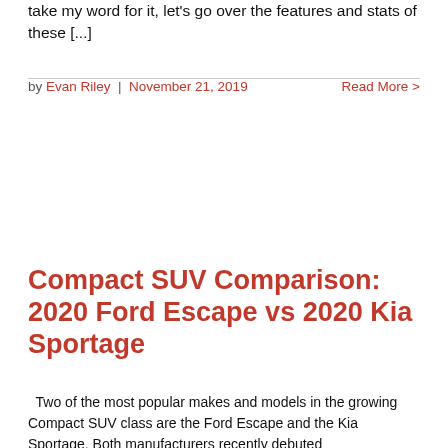take my word for it, let's go over the features and stats of these [...]
by Evan Riley | November 21, 2019    Read More >
Compact SUV Comparison: 2020 Ford Escape vs 2020 Kia Sportage
Two of the most popular makes and models in the growing Compact SUV class are the Ford Escape and the Kia Sportage. Both manufacturers recently debuted